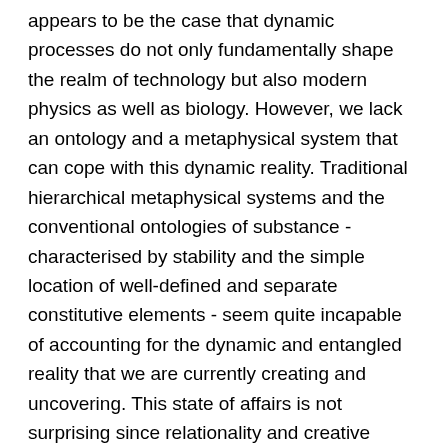appears to be the case that dynamic processes do not only fundamentally shape the realm of technology but also modern physics as well as biology. However, we lack an ontology and a metaphysical system that can cope with this dynamic reality. Traditional hierarchical metaphysical systems and the conventional ontologies of substance - characterised by stability and the simple location of well-defined and separate constitutive elements - seem quite incapable of accounting for the dynamic and entangled reality that we are currently creating and uncovering. This state of affairs is not surprising since relationality and creative change pose many challenges for rational thought. The most fundamental of these challenges that we encounter in